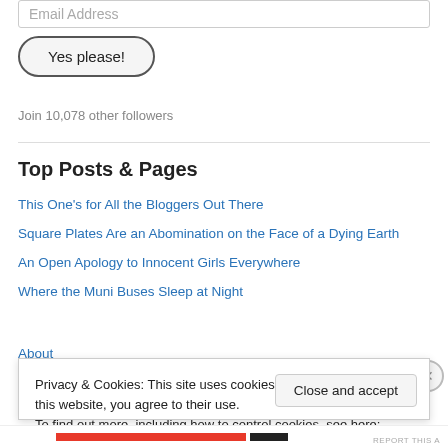Email Address
Yes please!
Join 10,078 other followers
Top Posts & Pages
This One's for All the Bloggers Out There
Square Plates Are an Abomination on the Face of a Dying Earth
An Open Apology to Innocent Girls Everywhere
Where the Muni Buses Sleep at Night
About
Privacy & Cookies: This site uses cookies. By continuing to use this website, you agree to their use. To find out more, including how to control cookies, see here: Cookie Policy
Close and accept